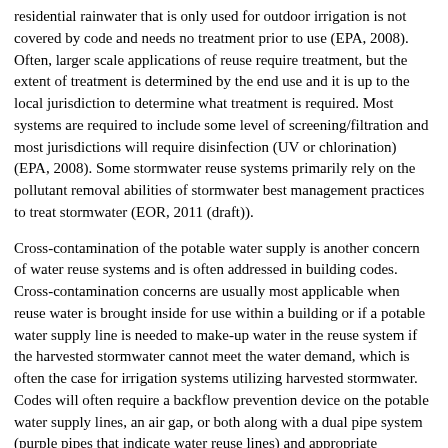residential rainwater that is only used for outdoor irrigation is not covered by code and needs no treatment prior to use (EPA, 2008). Often, larger scale applications of reuse require treatment, but the extent of treatment is determined by the end use and it is up to the local jurisdiction to determine what treatment is required. Most systems are required to include some level of screening/filtration and most jurisdictions will require disinfection (UV or chlorination) (EPA, 2008). Some stormwater reuse systems primarily rely on the pollutant removal abilities of stormwater best management practices to treat stormwater (EOR, 2011 (draft)).
Cross-contamination of the potable water supply is another concern of water reuse systems and is often addressed in building codes. Cross-contamination concerns are usually most applicable when reuse water is brought inside for use within a building or if a potable water supply line is needed to make-up water in the reuse system if the harvested stormwater cannot meet the water demand, which is often the case for irrigation systems utilizing harvested stormwater. Codes will often require a backflow prevention device on the potable water supply lines, an air gap, or both along with a dual pipe system (purple pipes that indicate water reuse lines) and appropriate stenciling and signage (EPA, 2008).
Operation and maintenance of stormwater reuse systems are the